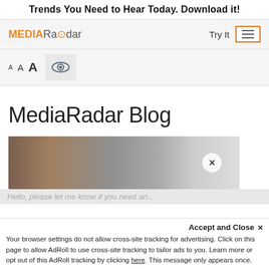Trends You Need to Hear Today. Download it!
[Figure (screenshot): MediaRadar website navigation bar with logo, Try It text, and hamburger menu button with orange border]
[Figure (screenshot): Font size selector with three A letters of increasing size and an eye icon button]
MediaRadar Blog
[Figure (photo): Photo of people working at a desk, partially visible, with a close X button overlay]
Hello, please let me know if you need an...
Accept and Close ×
Your browser settings do not allow cross-site tracking for advertising. Click on this page to allow AdRoll to use cross-site tracking to tailor ads to you. Learn more or opt out of this AdRoll tracking by clicking here. This message only appears once.